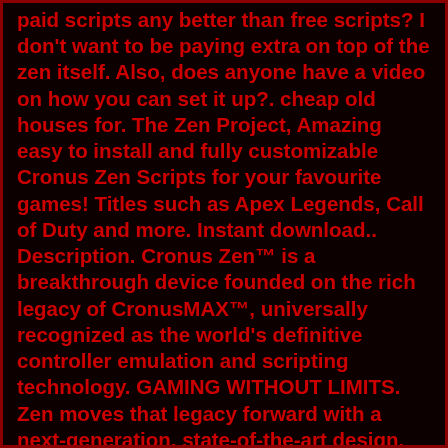paid scripts any better than free scripts? I don't want to be paying extra on top of the zen itself. Also, does anyone have a video on how you can set it up?. cheap old houses for. The Zen Project, Amazing easy to install and fully customizable Cronus Zen Scripts for your favourite games! Titles such as Apex Legends, Call of Duty and more. Instant download.. Description. Cronus Zen™ is a breakthrough device founded on the rich legacy of CronusMAX™, universally recognized as the world's definitive controller emulation and scripting technology. GAMING WITHOUT LIMITS. Zen moves that legacy forward with a next-generation, state-of-the-art design, giving gamers the most powerful device emulation technology ever created, putting full control back. Apr 14, 2022 · Best cronus zen scripts for fortnite, warzone, and apex. The best fortnite script for the cronus zen (aimbot!). Yo you got a good apex script i have a zen coronus i have ps4. October 23, 2021 ) This Update Is Packed With Many New Major Features So. Are paid scripts any better than free scripts? Best free fortnite soft aim and similar products and.  If you have any further